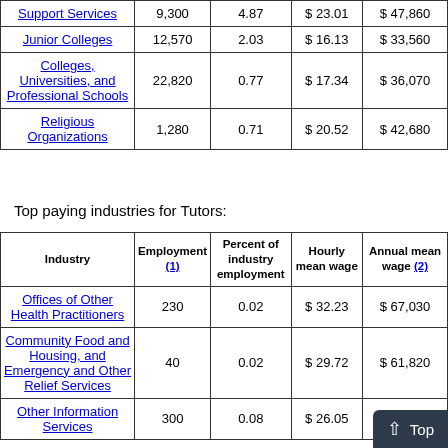| Industry | Employment (1) | Percent of industry employment | Hourly mean wage | Annual mean wage (2) |
| --- | --- | --- | --- | --- |
| Support Services | 9,300 | 4.87 | $ 23.01 | $ 47,860 |
| Junior Colleges | 12,570 | 2.03 | $ 16.13 | $ 33,560 |
| Colleges, Universities, and Professional Schools | 22,820 | 0.77 | $ 17.34 | $ 36,070 |
| Religious Organizations | 1,280 | 0.71 | $ 20.52 | $ 42,680 |
Top paying industries for Tutors:
| Industry | Employment (1) | Percent of industry employment | Hourly mean wage | Annual mean wage (2) |
| --- | --- | --- | --- | --- |
| Offices of Other Health Practitioners | 230 | 0.02 | $ 32.23 | $ 67,030 |
| Community Food and Housing, and Emergency and Other Relief Services | 40 | 0.02 | $ 29.72 | $ 61,820 |
| Other Information Services | 300 | 0.08 | $ 26.05 | $ 54,180 |